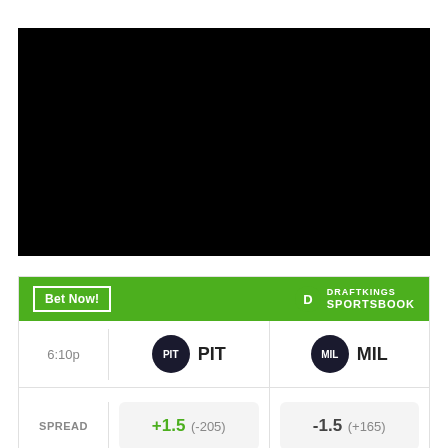[Figure (other): Black rectangle placeholder image/video area]
[Figure (infographic): DraftKings Sportsbook betting widget showing a game between PIT and MIL at 6:10p with spread odds: PIT +1.5 (-205), MIL -1.5 (+165)]